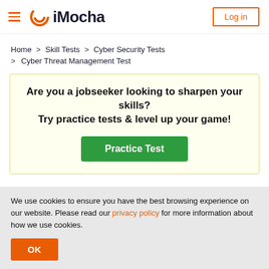iMocha — Log in
Home > Skill Tests > Cyber Security Tests > Cyber Threat Management Test
Are you a jobseeker looking to sharpen your skills? Try practice tests & level up your game! Practice Test
We use cookies to ensure you have the best browsing experience on our website. Please read our privacy policy for more information about how we use cookies. OK